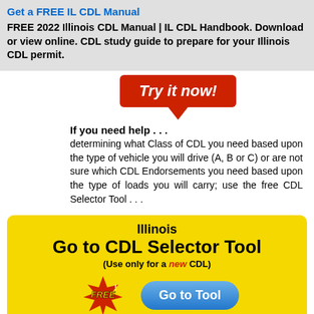Get a FREE IL CDL Manual
FREE 2022 Illinois CDL Manual | IL CDL Handbook. Download or view online. CDL study guide to prepare for your Illinois CDL permit.
[Figure (infographic): Red button with white bold italic text reading 'Try it now!' with a downward-pointing red arrow/triangle below it]
If you need help . . . determining what Class of CDL you need based upon the type of vehicle you will drive (A, B or C) or are not sure which CDL Endorsements you need based upon the type of loads you will carry; use the free CDL Selector Tool . . .
[Figure (infographic): Yellow rounded box with Illinois Go to CDL Selector Tool heading, subtitle '(Use only for a new CDL)', a FREE! badge graphic, and a blue 'Go to Tool' button]